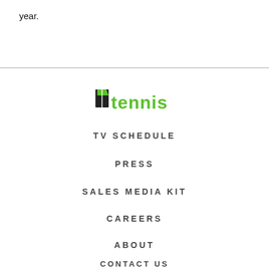year.
[Figure (logo): Tennis channel logo: black flag/court icon followed by green bold text 'tennis']
TV SCHEDULE
PRESS
SALES MEDIA KIT
CAREERS
ABOUT
CONTACT US